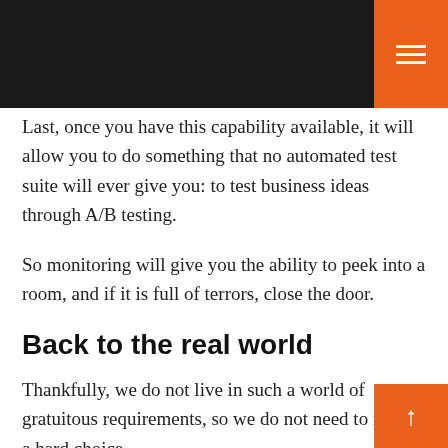Last, once you have this capability available, it will allow you to do something that no automated test suite will ever give you: to test business ideas through A/B testing.
So monitoring will give you the ability to peek into a room, and if it is full of terrors, close the door.
Back to the real world
Thankfully, we do not live in such a world of gratuitous requirements, so we do not need to make a hard choice.
In the real world, we will be doing both testing a